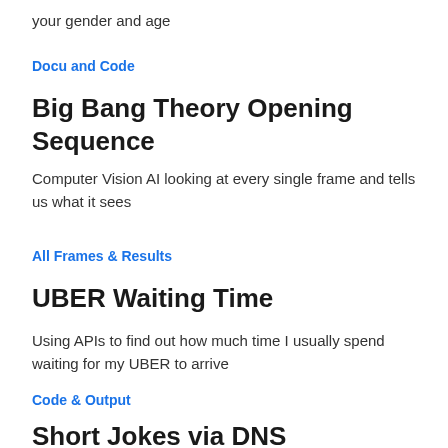your gender and age
Docu and Code
Big Bang Theory Opening Sequence
Computer Vision AI looking at every single frame and tells us what it sees
All Frames & Results
UBER Waiting Time
Using APIs to find out how much time I usually spend waiting for my UBER to arrive
Code & Output
Short Jokes via DNS